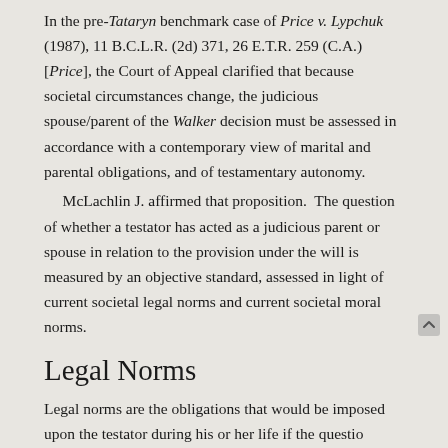In the pre-Tataryn benchmark case of Price v. Lypchuk (1987), 11 B.C.L.R. (2d) 371, 26 E.T.R. 259 (C.A.) [Price], the Court of Appeal clarified that because societal circumstances change, the judicious spouse/parent of the Walker decision must be assessed in accordance with a contemporary view of marital and parental obligations, and of testamentary autonomy. McLachlin J. affirmed that proposition. The question of whether a testator has acted as a judicious parent or spouse in relation to the provision under the will is measured by an objective standard, assessed in light of current societal legal norms and current societal moral norms.
Legal Norms
Legal norms are the obligations that would be imposed upon the testator during his or her life if the questio provision for the claimant spouse or child were to a In the words of McLachlin J., a testator's legal